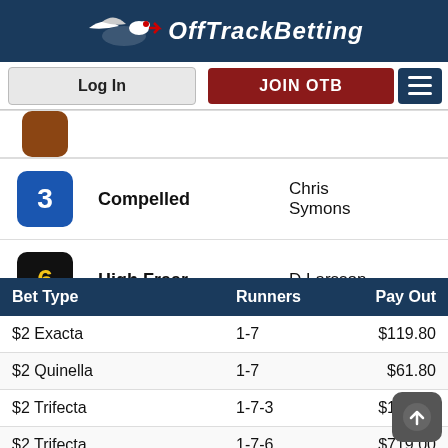OffTrackBetting
Log In | JOIN OTB
|  | Horse | Jockey |  |
| --- | --- | --- | --- |
| 3 | Compelled | Chris Symons |  |
| 6 | High Fraar | D Larsson |  |
| Bet Type | Runners | Pay Out |
| --- | --- | --- |
| $2 Exacta | 1-7 | $119.80 |
| $2 Quinella | 1-7 | $61.80 |
| $2 Trifecta | 1-7-3 | $159.60 |
| $2 Trifecta | 1-7-6 | $719.00 |
| $1 Superfecta | 1-7-3-6 | $509.00 |